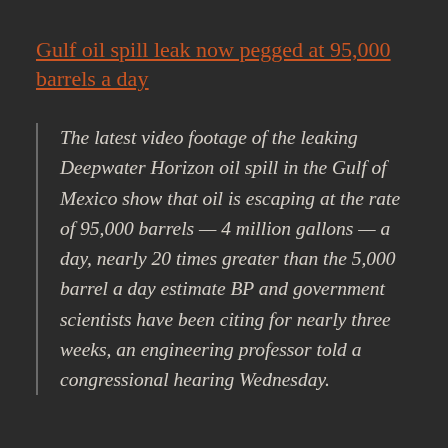Gulf oil spill leak now pegged at 95,000 barrels a day
The latest video footage of the leaking Deepwater Horizon oil spill in the Gulf of Mexico show that oil is escaping at the rate of 95,000 barrels — 4 million gallons — a day, nearly 20 times greater than the 5,000 barrel a day estimate BP and government scientists have been citing for nearly three weeks, an engineering professor told a congressional hearing Wednesday.